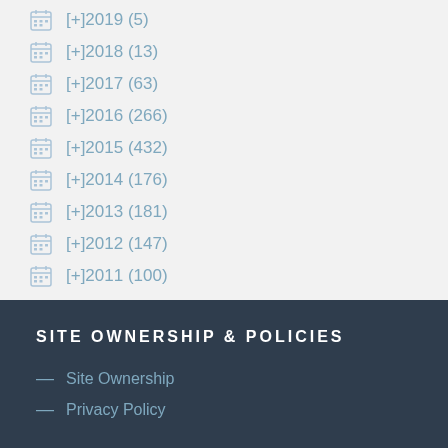[+]2019 (5)
[+]2018 (13)
[+]2017 (63)
[+]2016 (266)
[+]2015 (432)
[+]2014 (176)
[+]2013 (181)
[+]2012 (147)
[+]2011 (100)
SITE OWNERSHIP & POLICIES
Site Ownership
Privacy Policy